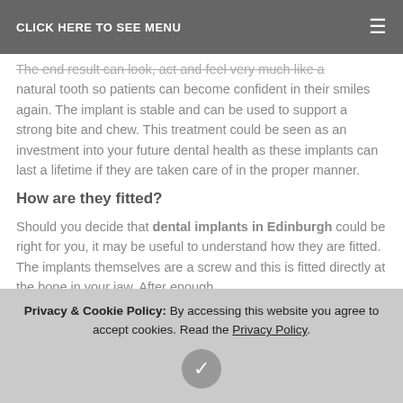CLICK HERE TO SEE MENU
The end result can look, act and feel very much like a natural tooth so patients can become confident in their smiles again. The implant is stable and can be used to support a strong bite and chew. This treatment could be seen as an investment into your future dental health as these implants can last a lifetime if they are taken care of in the proper manner.
How are they fitted?
Should you decide that dental implants in Edinburgh could be right for you, it may be useful to understand how they are fitted. The implants themselves are a screw and this is fitted directly at the bone in your jaw. After enough
these would be the best fit for you.
Privacy & Cookie Policy: By accessing this website you agree to accept cookies. Read the Privacy Policy.